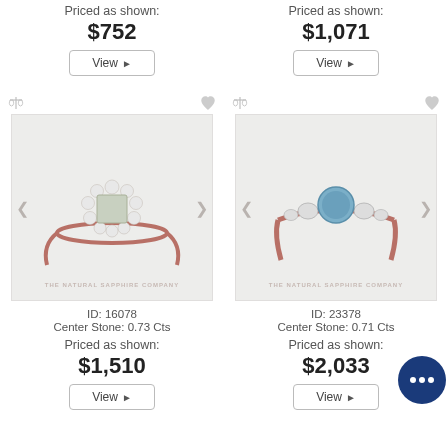Priced as shown:
$752
Priced as shown:
$1,071
[Figure (photo): Rose gold ring with emerald-cut center stone surrounded by diamond halo, labeled 'THE NATURAL SAPPHIRE COMPANY']
[Figure (photo): Rose gold ring with round blue sapphire center stone flanked by side diamonds, labeled 'THE NATURAL SAPPHIRE COMPANY']
ID: 16078
Center Stone: 0.73 Cts
Priced as shown:
$1,510
ID: 23378
Center Stone: 0.71 Cts
Priced as shown:
$2,033